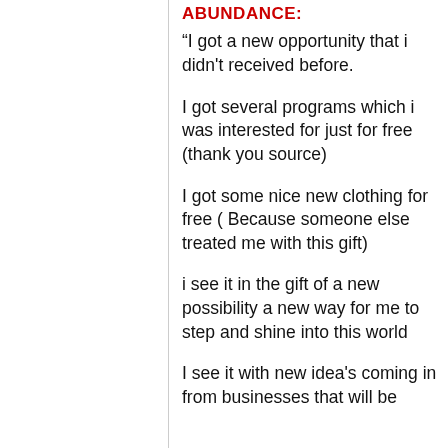ABUNDANCE:
“I got a new opportunity that i didn't received before.
I got several programs which i was interested for just for free (thank you source)
I got some nice new clothing for free ( Because someone else treated me with this gift)
i see it in the gift of a new possibility a new way for me to step and shine into this world
I see it with new idea's coming in from businesses that will be